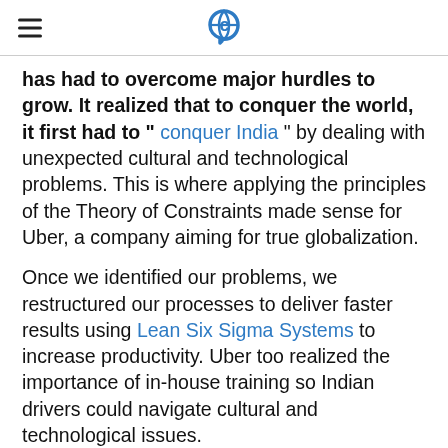[hamburger menu icon] [Cégep logo]
has had to overcome major hurdles to grow. It realized that to conquer the world, it first had to " conquer India " by dealing with unexpected cultural and technological problems. This is where applying the principles of the Theory of Constraints made sense for Uber, a company aiming for true globalization.
Once we identified our problems, we restructured our processes to deliver faster results using Lean Six Sigma Systems to increase productivity. Uber too realized the importance of in-house training so Indian drivers could navigate cultural and technological issues.